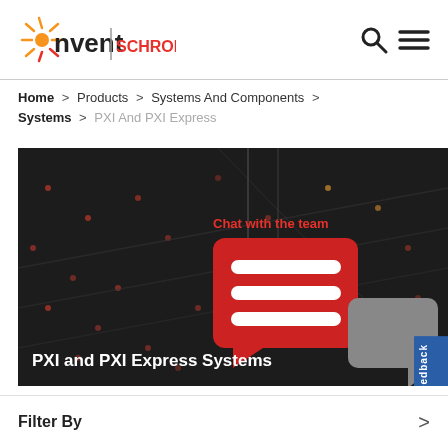nvent | SCHROFF
Home > Products > Systems And Components > Systems > PXI And PXI Express
[Figure (screenshot): Dark circuit board background with red and gray chat bubble icons overlaid, text 'Chat with the team' in red, and white bold text 'PXI and PXI Express Systems' at the bottom left. A blue 'Feedback' tab appears on the right edge.]
Filter By